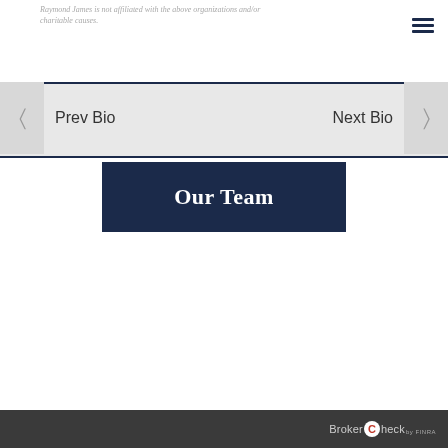Raymond James is not affiliated with the above organizations and/or charitable causes.
Prev Bio
Next Bio
Our Team
BrokerCheck